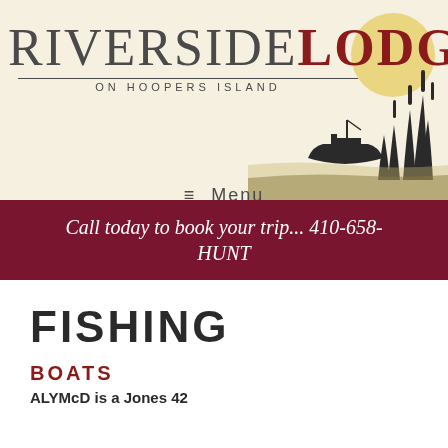[Figure (logo): Riverside Lodge on Hoopers Island logo with boat and marsh illustration]
≡ Menu
Call today to book your trip... 410-658-HUNT
FISHING
BOATS
ALYMcD is a Jones 42